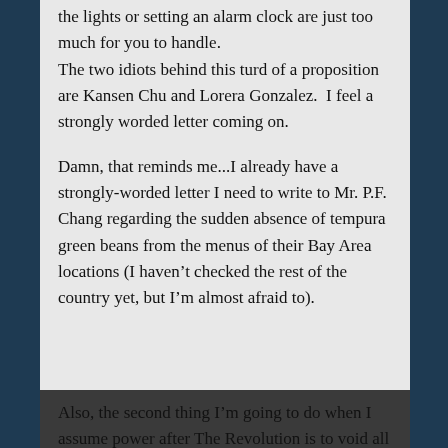the lights or setting an alarm clock are just too much for you to handle.
The two idiots behind this turd of a proposition are Kansen Chu and Lorera Gonzalez.  I feel a strongly worded letter coming on.

Damn, that reminds me...I already have a strongly-worded letter I need to write to Mr. P.F. Chang regarding the sudden absence of tempura green beans from the menus of their Bay Area locations (I haven't checked the rest of the country yet, but I'm almost afraid to).
Also, the second thing I'm going to do when I assume power after The Revolution is to void all